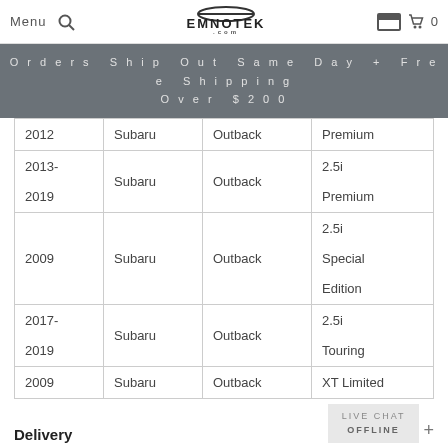Menu  [search]  EMNOTEK  [store icon]  0
Orders Ship Out Same Day + Free Shipping Over $200
| Year | Make | Model | Trim |
| --- | --- | --- | --- |
| 2012 | Subaru | Outback | Premium |
| 2013-2019 | Subaru | Outback | 2.5i Premium |
| 2009 | Subaru | Outback | 2.5i Special Edition |
| 2017-2019 | Subaru | Outback | 2.5i Touring |
| 2009 | Subaru | Outback | XT Limited |
LIVE CHAT OFFLINE
Delivery